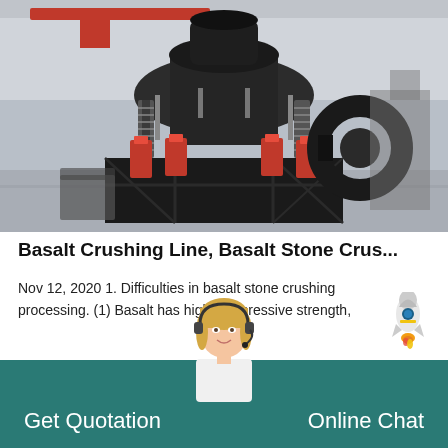[Figure (photo): Industrial cone crusher machine (basalt stone crushing equipment) photographed in a factory setting. Large black metal machine with red hydraulic cylinders, coil springs, and a drive belt, mounted on a heavy steel frame. Factory interior visible in background.]
Basalt Crushing Line, Basalt Stone Crus...
Nov 12, 2020 1. Difficulties in basalt stone crushing processing. (1) Basalt has high compressive strength,
GET PRICE →
[Figure (illustration): Rocket emoji/illustration next to article excerpt]
[Figure (photo): Customer service representative - woman with blonde hair wearing a headset microphone, smiling, upper body visible, overlapping the teal footer bar]
Get Quotation
Online Chat